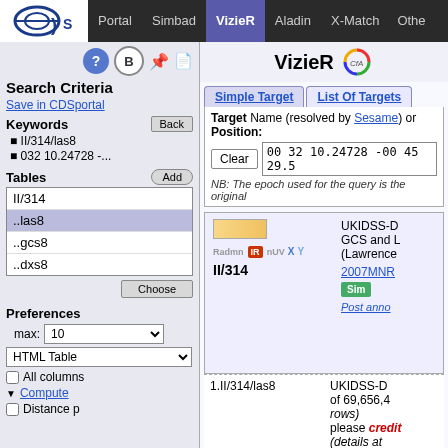Portal  Simbad  VizieR  Aladin  X-Match  Other
VizieR
Search Criteria
Save in CDSportal
Keywords
II/314/las8
032 10.24728 -...
Tables
| II/314 |
| ..las8 |
| ..gcs8 |
| ..dxs8 |
Preferences
max: 10
HTML Table
All columns
Compute
Distance p
Simple Target | List Of Targets
Target Name (resolved by Sesame) or Position:
Clear  00 32 10.24728 -00 45 29.5
NB: The epoch used for the query is the original
[Figure (screenshot): Catalog entry box showing UKIDSS GCS and LAS catalog II/314 with IR badge, color swatch, and links to 2007MNR and Simple query]
1.II/314/las8  UKIDSS-D of 69,656,4 rows) please credit (details at http://www.uk